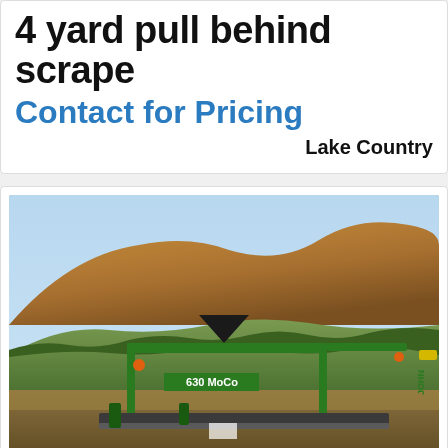4 yard pull behind scrape
Contact for Pricing
Lake Country
[Figure (photo): Green John Deere 630 MoCo pull-behind scraper/mower implement photographed outdoors with a forested mountain and golden-lit rocky cliffs in the background under a clear sky.]